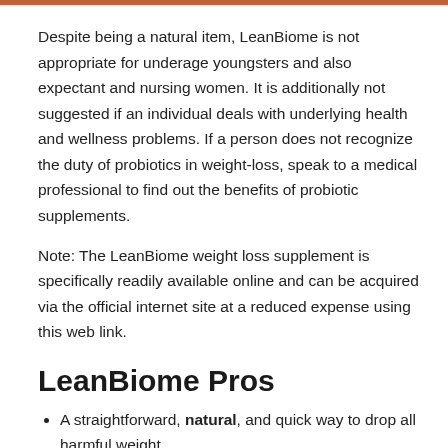Despite being a natural item, LeanBiome is not appropriate for underage youngsters and also expectant and nursing women. It is additionally not suggested if an individual deals with underlying health and wellness problems. If a person does not recognize the duty of probiotics in weight-loss, speak to a medical professional to find out the benefits of probiotic supplements.
Note: The LeanBiome weight loss supplement is specifically readily available online and can be acquired via the official internet site at a reduced expense using this web link.
LeanBiome Pros
A straightforward, natural, and quick way to drop all harmful weight
Fat decrease from the stubborn areas such as the stubborn belly, upper legs, etc.